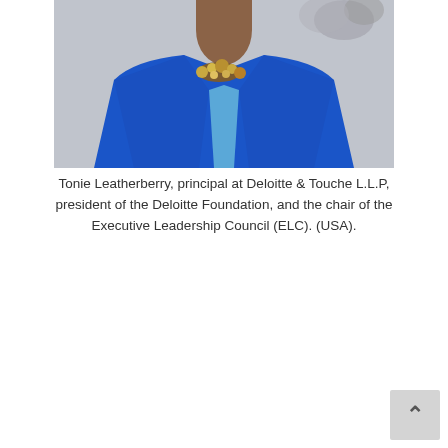[Figure (photo): Portrait photo of Tonie Leatherberry, a woman wearing a bright blue blazer and a decorative necklace, photographed from approximately chest level up.]
Tonie Leatherberry, principal at Deloitte & Touche L.L.P, president of the Deloitte Foundation, and the chair of the Executive Leadership Council (ELC). (USA).